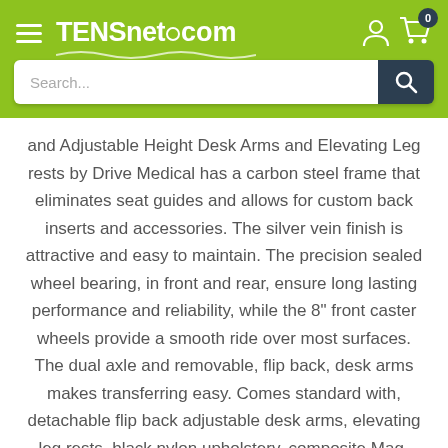TENSnet.com
and Adjustable Height Desk Arms and Elevating Leg rests by Drive Medical has a carbon steel frame that eliminates seat guides and allows for custom back inserts and accessories. The silver vein finish is attractive and easy to maintain. The precision sealed wheel bearing, in front and rear, ensure long lasting performance and reliability, while the 8" front caster wheels provide a smooth ride over most surfaces. The dual axle and removable, flip back, desk arms makes transferring easy. Comes standard with, detachable flip back adjustable desk arms, elevating leg rests, black nylon upholstery, composite Mag-style wheels